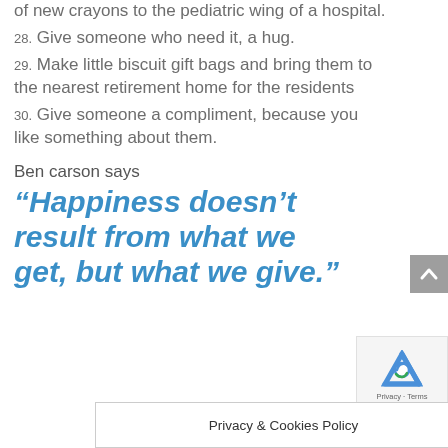of new crayons to the pediatric wing of a hospital.
28. Give someone who need it, a hug.
29. Make little biscuit gift bags and bring them to the nearest retirement home for the residents
30. Give someone a compliment, because you like something about them.
Ben carson says
“Happiness doesn’t result from what we get, but what we give.”
Privacy & Cookies Policy